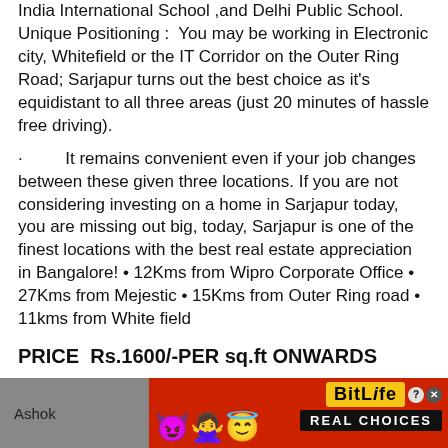India International School ,and Delhi Public School. Unique Positioning :  You may be working in Electronic city, Whitefield or the IT Corridor on the Outer Ring Road; Sarjapur turns out the best choice as it's equidistant to all three areas (just 20 minutes of hassle free driving).
·         It remains convenient even if your job changes between these given three locations. If you are not considering investing on a home in Sarjapur today, you are missing out big, today, Sarjapur is one of the finest locations with the best real estate appreciation in Bangalore! • 12Kms from Wipro Corporate Office • 27Kms from Mejestic • 15Kms from Outer Ring road • 11kms from White field
PRICE  Rs.1600/-PER sq.ft ONWARDS
Ashok